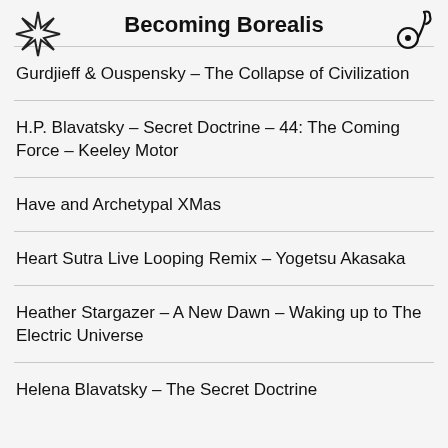Becoming Borealis
Gurdjieff & Ouspensky – The Collapse of Civilization
H.P. Blavatsky – Secret Doctrine – 44: The Coming Force – Keeley Motor
Have and Archetypal XMas
Heart Sutra Live Looping Remix – Yogetsu Akasaka
Heather Stargazer – A New Dawn – Waking up to The Electric Universe
Helena Blavatsky – The Secret Doctrine